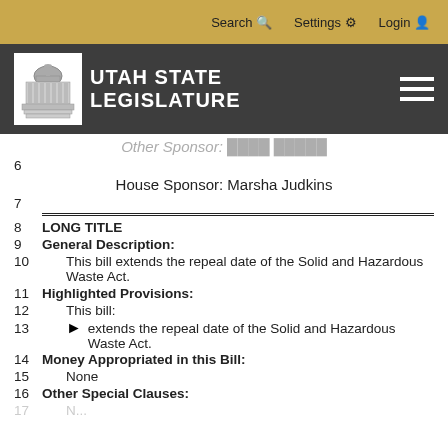Search  Settings  Login
[Figure (logo): Utah State Legislature logo with capitol building icon and text UTAH STATE LEGISLATURE on dark background]
Other Sponsor: (partially visible)
6

House Sponsor: Marsha Judkins
7
8   LONG TITLE
9   General Description:
10   This bill extends the repeal date of the Solid and Hazardous Waste Act.
11   Highlighted Provisions:
12   This bill:
13   ► extends the repeal date of the Solid and Hazardous Waste Act.
14   Money Appropriated in this Bill:
15   None
16   Other Special Clauses:
17   None (partially visible)